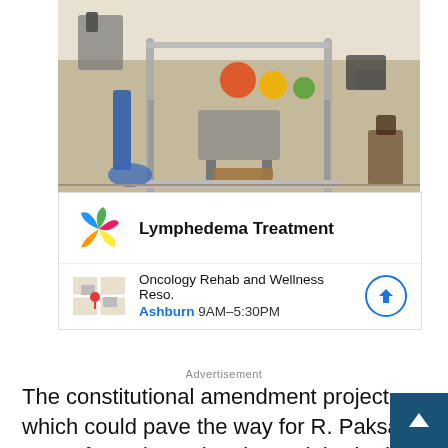[Figure (photo): Interior of a physical therapy or rehabilitation gym with parallel bars, exercise balls, treadmills, and therapy equipment on a carpeted floor.]
[Figure (screenshot): Advertisement card for Lymphedema Treatment at Oncology Rehab and Wellness Reso., Ashburn, 9AM-5:30PM, with colorful hand/leaf logo and a map thumbnail.]
Advertisement
The constitutional amendment project, which could pave the way for R. Paksas to run for Seimas, has been “inherited” from the previous term’s Seimas. While it was included in the work programme of sessions so far in this term’s Seimas, it was never